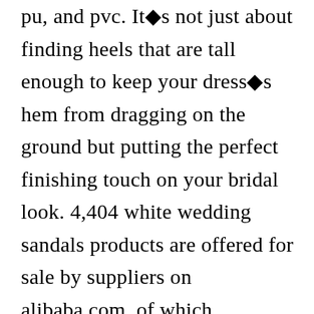pu, and pvc. It■s not just about finding heels that are tall enough to keep your dress■s hem from dragging on the ground but putting the perfect finishing touch on your bridal look. 4,404 white wedding sandals products are offered for sale by suppliers on alibaba.com, of which women■s sandals accounts for 29%, women■s pumps accounts for 15%, and genuine leather shoes accounts for 1%. Ind your perfect white evening shoes, ivory wedding sandals, white bridal flats for bride